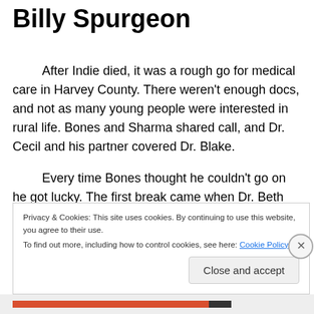Billy Spurgeon
After Indie died, it was a rough go for medical care in Harvey County. There weren't enough docs, and not as many young people were interested in rural life. Bones and Sharma shared call, and Dr. Cecil and his partner covered Dr. Blake.
Every time Bones thought he couldn't go on he got lucky. The first break came when Dr. Beth Lucas arrived. Her husband was a pilot. He owned a helicopter that he
Privacy & Cookies: This site uses cookies. By continuing to use this website, you agree to their use.
To find out more, including how to control cookies, see here: Cookie Policy
Close and accept